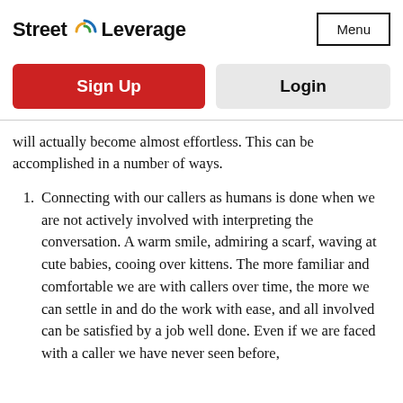[Figure (logo): Street Leverage logo with circular icon and text]
Menu
Sign Up
Login
will actually become almost effortless. This can be accomplished in a number of ways.
Connecting with our callers as humans is done when we are not actively involved with interpreting the conversation. A warm smile, admiring a scarf, waving at cute babies, cooing over kittens. The more familiar and comfortable we are with callers over time, the more we can settle in and do the work with ease, and all involved can be satisfied by a job well done. Even if we are faced with a caller we have never seen before,